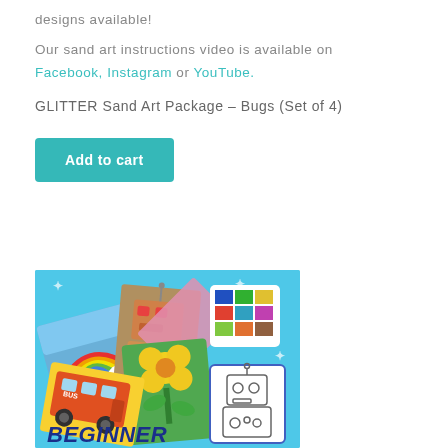designs available!
Our sand art instructions video is available on Facebook, Instagram or YouTube.
GLITTER Sand Art Package – Bugs (Set of 4)
[Figure (other): Button labeled 'Add to cart' with teal/turquoise background and white bold text]
[Figure (photo): Product photo showing sand art craft kits on a bright blue background, with various completed designs including a rainbow, robot, flower, school bus, and an outline robot card. Text 'BEGINNER' visible in bold italic dark blue at the bottom left.]